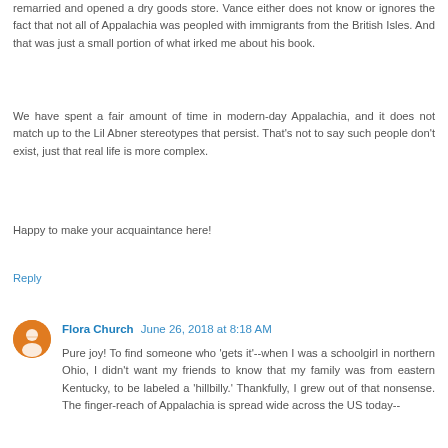remarried and opened a dry goods store. Vance either does not know or ignores the fact that not all of Appalachia was peopled with immigrants from the British Isles. And that was just a small portion of what irked me about his book.
We have spent a fair amount of time in modern-day Appalachia, and it does not match up to the Lil Abner stereotypes that persist. That's not to say such people don't exist, just that real life is more complex.
Happy to make your acquaintance here!
Reply
Flora Church  June 26, 2018 at 8:18 AM
Pure joy! To find someone who 'gets it'--when I was a schoolgirl in northern Ohio, I didn't want my friends to know that my family was from eastern Kentucky, to be labeled a 'hillbilly.' Thankfully, I grew out of that nonsense. The finger-reach of Appalachia is spread wide across the US today--